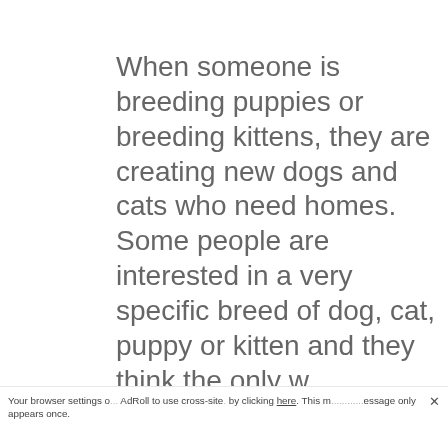When someone is breeding puppies or breeding kittens, they are creating new dogs and cats who need homes. Some people are interested in a very specific breed of dog, cat, puppy or kitten and they think the only w... to buy... sale f... kitten... are fil... must...
This website stores data such as cookies to enable necessary site functions, including analytics, targeting and personalization. By remaining on this website you indicate your consent.
Cookie Policy
Your browser settings o... AdRoll to use cross-site... by clicking here. This m...essage only appears once.